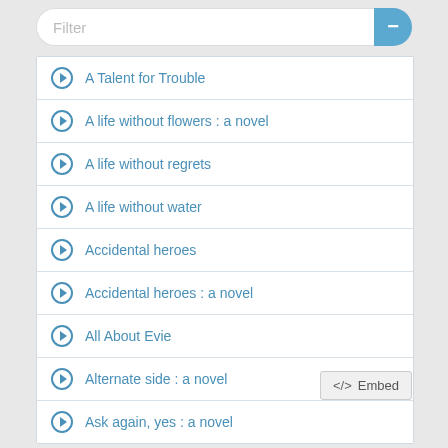A Talent for Trouble
A life without flowers : a novel
A life without regrets
A life without water
Accidental heroes
Accidental heroes : a novel
All About Evie
Alternate side : a novel
Ask again, yes : a novel
Embed